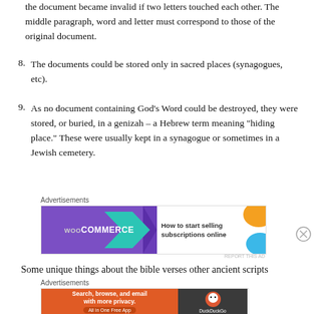the document became invalid if two letters touched each other. The middle paragraph, word and letter must correspond to those of the original document.
8. The documents could be stored only in sacred places (synagogues, etc).
9. As no document containing God’s Word could be destroyed, they were stored, or buried, in a genizah – a Hebrew term meaning “hiding place.” These were usually kept in a synagogue or sometimes in a Jewish cemetery.
[Figure (other): WooCommerce advertisement: How to start selling subscriptions online]
Some unique things about the bible verses other ancient scripts
[Figure (other): DuckDuckGo advertisement: Search, browse, and email with more privacy. All in One Free App]